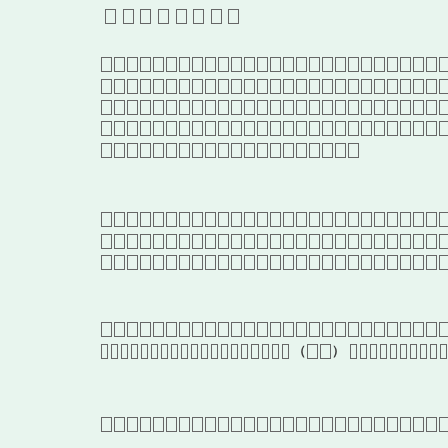[Japanese/CJK text header]
[Japanese/CJK body text paragraph 1 - 5 lines]
[Japanese/CJK body text paragraph 2 - 3 lines]
[Japanese/CJK body text paragraph 3 - 2 lines with parenthetical]
[Japanese/CJK body text paragraph 4 - 1 line]